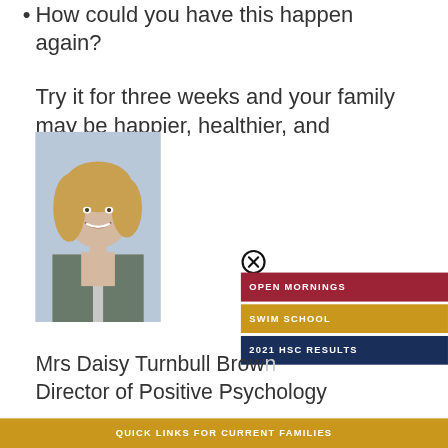How could you have this happen again?
Try it for three weeks and your family may be happier, healthier, and closer.
[Figure (photo): Headshot photo of Mrs Daisy Turnbull Brown, a woman with shoulder-length blonde hair wearing a patterned blazer, smiling.]
Mrs Daisy Turnbull Brow
Director of Positive Psychology
QUICK LINKS FOR CURRENT FAMILIES